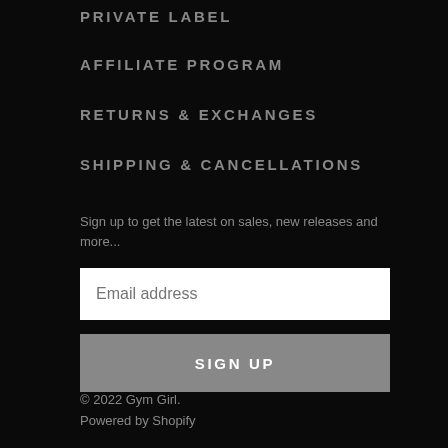PRIVATE LABEL
AFFILIATE PROGRAM
RETURNS & EXCHANGES
SHIPPING & CANCELLATIONS
Sign up to get the latest on sales, new releases and more...
Email address
SIGN UP
© 2022 Gym Girl.
Powered by Shopify